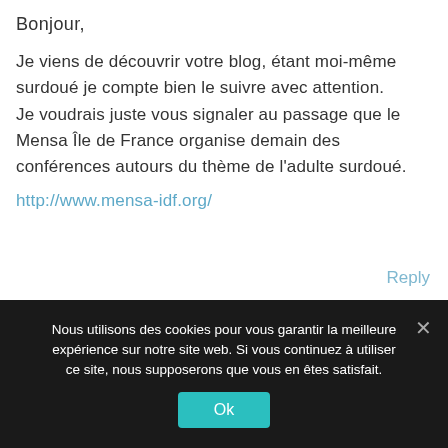Bonjour,
Je viens de découvrir votre blog, étant moi-même surdoué je compte bien le suivre avec attention.
Je voudrais juste vous signaler au passage que le Mensa Île de France organise demain des conférences autours du thème de l'adulte surdoué.
http://www.mensa-idf.org/
Reply
Nous utilisons des cookies pour vous garantir la meilleure expérience sur notre site web. Si vous continuez à utiliser ce site, nous supposerons que vous en êtes satisfait.